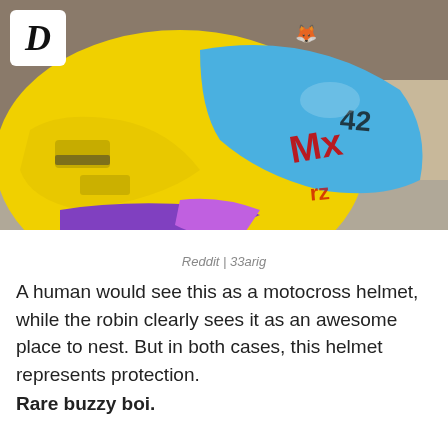[Figure (photo): A colorful motocross helmet (yellow, blue, purple) with a Fox brand logo, placed in front of a wall with graffiti. A white 'D' logo box is overlaid in the top-left corner.]
Reddit | 33arig
A human would see this as a motocross helmet, while the robin clearly sees it as an awesome place to nest. But in both cases, this helmet represents protection.
Rare buzzy boi.